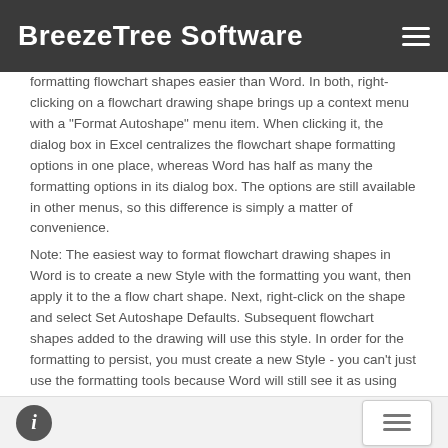BreezeTree Software
formatting flowchart shapes easier than Word. In both, right-clicking on a flowchart drawing shape brings up a context menu with a "Format Autoshape" menu item. When clicking it, the dialog box in Excel centralizes the flowchart shape formatting options in one place, whereas Word has half as many the formatting options in its dialog box. The options are still available in other menus, so this difference is simply a matter of convenience.
Note: The easiest way to format flowchart drawing shapes in Word is to create a new Style with the formatting you want, then apply it to the a flow chart shape. Next, right-click on the shape and select Set Autoshape Defaults. Subsequent flowchart shapes added to the drawing will use this style. In order for the formatting to persist, you must create a new Style - you can't just use the formatting tools because Word will still see it as using Normal style.
Advantage: Excel